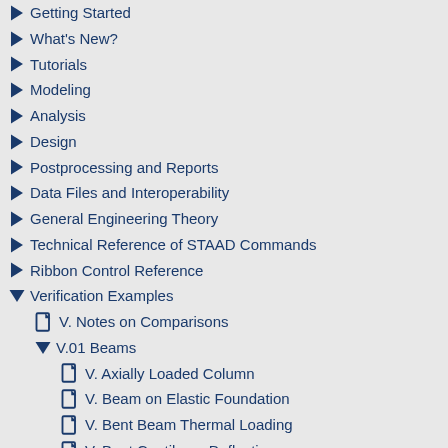Getting Started
What's New?
Tutorials
Modeling
Analysis
Design
Postprocessing and Reports
Data Files and Interoperability
General Engineering Theory
Technical Reference of STAAD Commands
Ribbon Control Reference
Verification Examples
V. Notes on Comparisons
V.01 Beams
V. Axially Loaded Column
V. Beam on Elastic Foundation
V. Bent Beam Thermal Loading
V. Bent Cantilever Deflection
V. Curved Beam
V. Deflection and Reactions in a Beam